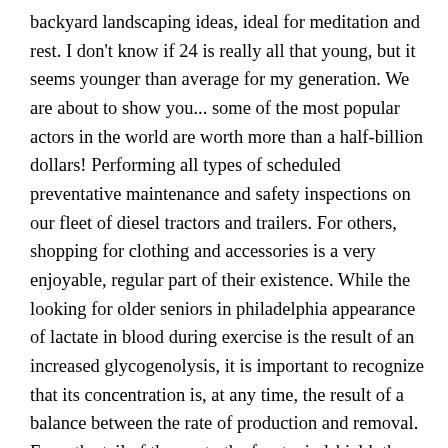backyard landscaping ideas, ideal for meditation and rest. I don't know if 24 is really all that young, but it seems younger than average for my generation. We are about to show you... some of the most popular actors in the world are worth more than a half-billion dollars! Performing all types of scheduled preventative maintenance and safety inspections on our fleet of diesel tractors and trailers. For others, shopping for clothing and accessories is a very enjoyable, regular part of their existence. While the looking for older seniors in philadelphia appearance of lactate in blood during exercise is the result of an increased glycogenolysis, it is important to recognize that its concentration is, at any time, the result of a balance between the rate of production and removal. From the tail of the car to the front windshield, the body of the cs was basically identical to the cs, but the nose was restyled and lengthened to accommodate the new horsepower dual-zenith-fed m30 engine. That means it will not remember the history of your private browsing window this was it! I lso